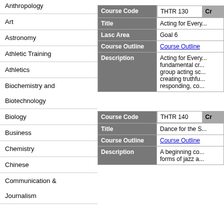Anthropology
Art
Astronomy
Athletic Training
Athletics
Biochemistry and Biotechnology
Biology
Business
Chemistry
Chinese
Communication & Journalism
| Field | Value |
| --- | --- |
| Course Code | THTR 130 | Cr... |
| Title | Acting for Every... |
| Lasc Area | Goal 6 |
| Course Outline | Course Outline |
| Description | Acting for Every... fundamental cr... group acting sc... creating truthfu... responding, co... |
| Field | Value |
| --- | --- |
| Course Code | THTR 140 | Cr... |
| Title | Dance for the S... |
| Course Outline | Course Outline |
| Description | A beginning co... forms of jazz a... |